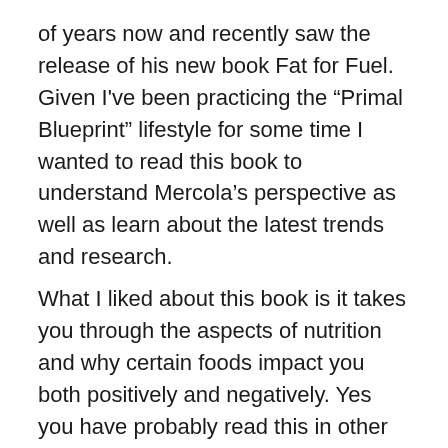of years now and recently saw the release of his new book Fat for Fuel. Given I've been practicing the “Primal Blueprint” lifestyle for some time I wanted to read this book to understand Mercola’s perspective as well as learn about the latest trends and research.
What I liked about this book is it takes you through the aspects of nutrition and why certain foods impact you both positively and negatively. Yes you have probably read this in other health and wellness books however “Fat for Fuel” takes it to the next level; the Mitochondria. Mercola centres the book around Mitochondria Metabolic Therapy and how to integrate this in your lifestyle. This way you can benefit both in the short term and the long